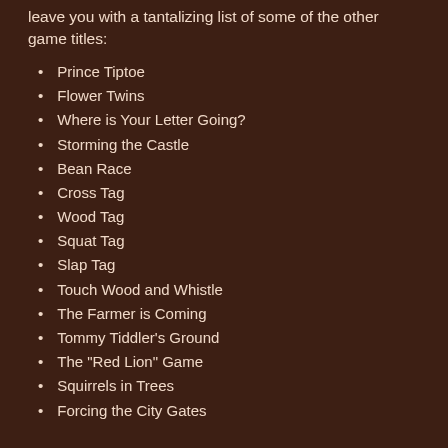leave you with a tantalizing list of some of the other game titles:
Prince Tiptoe
Flower Twins
Where is Your Letter Going?
Storming the Castle
Bean Race
Cross Tag
Wood Tag
Squat Tag
Slap Tag
Touch Wood and Whistle
The Farmer is Coming
Tommy Tiddler's Ground
The "Red Lion" Game
Squirrels in Trees
Forcing the City Gates